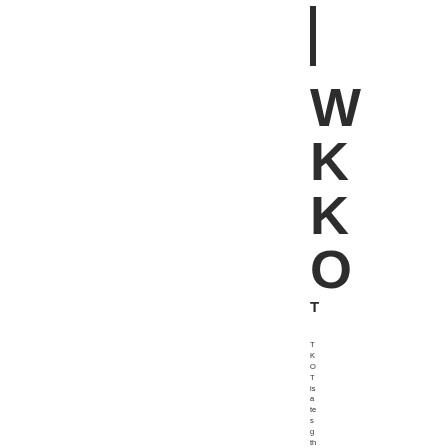W
K
K
O
T
T K O T is a te s g th